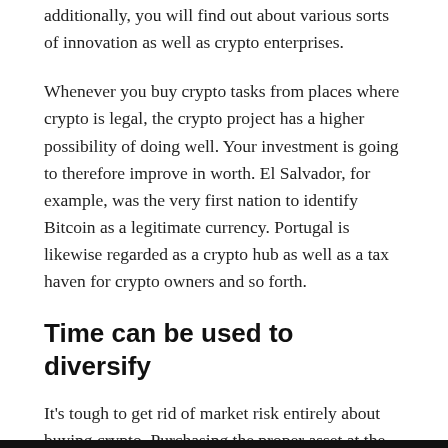additionally, you will find out about various sorts of innovation as well as crypto enterprises.
Whenever you buy crypto tasks from places where crypto is legal, the crypto project has a higher possibility of doing well. Your investment is going to therefore improve in worth. El Salvador, for example, was the very first nation to identify Bitcoin as a legitimate currency. Portugal is likewise regarded as a crypto hub as well as a tax haven for crypto owners and so forth.
Time can be used to diversify
It's tough to get rid of market risk entirely about buying crypto. Purchasing the proper asset at the proper time can enhance the importance of your portfolio. You should know precisely where as well as when to put